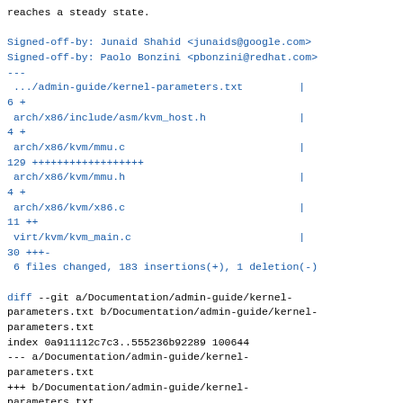reaches a steady state.
Signed-off-by: Junaid Shahid <junaids@google.com>
Signed-off-by: Paolo Bonzini <pbonzini@redhat.com>
---
 .../admin-guide/kernel-parameters.txt            | 6 +
 arch/x86/include/asm/kvm_host.h                  | 4 +
 arch/x86/kvm/mmu.c                               | 129 ++++++++++++++++++
 arch/x86/kvm/mmu.h                               | 4 +
 arch/x86/kvm/x86.c                               | 11 ++
 virt/kvm/kvm_main.c                              | 30 +++-
 6 files changed, 183 insertions(+), 1 deletion(-)
diff --git a/Documentation/admin-guide/kernel-parameters.txt b/Documentation/admin-guide/kernel-parameters.txt
index 0a911112c7c3..555236b92289 100644
--- a/Documentation/admin-guide/kernel-parameters.txt
+++ b/Documentation/admin-guide/kernel-parameters.txt
@@ -2066,6 +2066,12 @@
                                If the sw workaround is
enabled for the host, guests